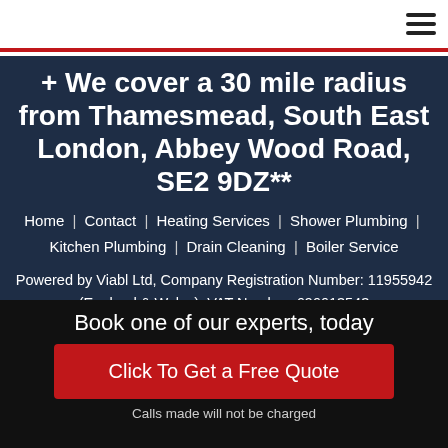+ We cover a 30 mile radius from Thamesmead, South East London, Abbey Wood Road, SE2 9DZ**
Home | Contact | Heating Services | Shower Plumbing | Kitchen Plumbing | Drain Cleaning | Boiler Service
Powered by Viabl Ltd, Company Registration Number: 11955942 (England & Wales), VAT Number: 696613543
Book one of our experts, today
Click To Get a Free Quote
Calls made will not be charged